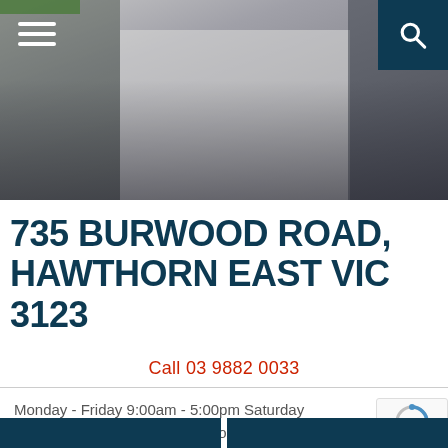[Figure (photo): Exterior photo of a real estate office at 735 Burwood Road with a crowd of people gathered outside on the footpath. The building facade is visible with signage. A hamburger menu icon appears in the top-left and a search icon in a dark navy box appears in the top-right.]
735 BURWOOD ROAD, HAWTHORN EAST VIC 3123
Call 03 9882 0033
Monday - Friday 9:00am - 5:00pm Saturday 10:00am - 2:00pm Sunday - Closed